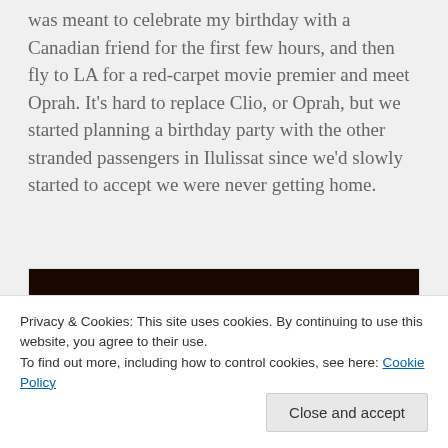was meant to celebrate my birthday with a Canadian friend for the first few hours, and then fly to LA for a red-carpet movie premier and meet Oprah. It's hard to replace Clio, or Oprah, but we started planning a birthday party with the other stranded passengers in Ilulissat since we'd slowly started to accept we were never getting home.
[Figure (photo): A dark photograph split into two visible sections: a very dark (near black) upper portion, and a lower portion showing warm reddish-orange tones, partially obscured by the cookie consent banner overlay.]
Privacy & Cookies: This site uses cookies. By continuing to use this website, you agree to their use.
To find out more, including how to control cookies, see here: Cookie Policy
Close and accept